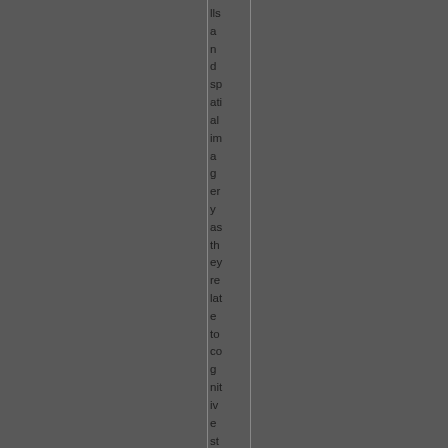lls and spatial imagery as they relate to cognitive strengths in